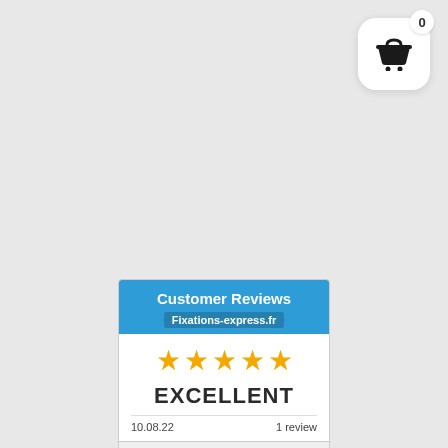[Figure (other): Shopping cart icon button with badge showing 0, white rounded square button with basket icon]
[Figure (infographic): Customer Reviews widget for Fixations-express.fr showing 5 gold stars, EXCELLENT rating, date 10.08.22, 1 review]